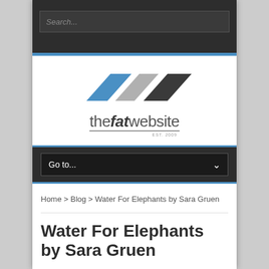Search...
[Figure (logo): thefatwebsite logo with three parallelogram shapes (blue, gray, dark) above the site name text]
Go to...
Home > Blog > Water For Elephants by Sara Gruen
Water For Elephants by Sara Gruen